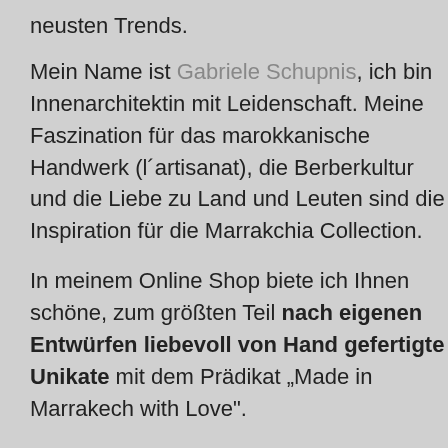neusten Trends.
Mein Name ist Gabriele Schupnis, ich bin Innenarchitektin mit Leidenschaft. Meine Faszination für das marokkanische Handwerk (l´artisanat), die Berberkultur und die Liebe zu Land und Leuten sind die Inspiration für die Marrakchia Collection.
In meinem Online Shop biete ich Ihnen schöne, zum größten Teil nach eigenen Entwürfen liebevoll von Hand gefertigte Unikate mit dem Prädikat „Made in Marrakech with Love".
Die Marrakchia Collection umfasst ausgefallene Handtaschen, einzigartige Sitzkissen (Pouf) aus Vintage-Leder und -Teppichen, ausgefallene Kleinmöbel, Teppiche und ausgesuchte Vintage Objekte. Liebevolle Mode- und Wohnaccessoires komplettieren die Kollektion.
Alle Marrakchia Produkte werden in kleinen Handwerksbetrieben oder in Heimarbeit unter fairen Bedingungen hergestellt.
Marrakchia Fashion und Lifestyle Produkte verbinden traditionelle